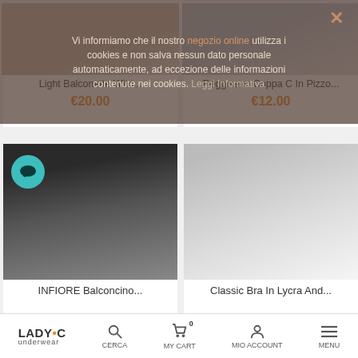Vi informiamo che il nostro negozio online utilizza i cookies e non salva nessun dato personale automaticamente, ad eccezione delle informazioni contenute nei cookies. Leggi Informativa
Light Balconette With...
€20.00
Reggiseno Coppa C In Pizzo...
€12.00
[Figure (photo): Woman wearing black bra - INFIORE Balconcino product photo with teal chat bubble icon overlay]
INFIORE Balconcino...
[Figure (photo): Black and white photo of a white lace bra - Classic Bra In Lycra And... product photo]
Classic Bra In Lycra And...
LADY•C underwear | CERCA | MY CART 0 | MIO ACCOUNT | MENU